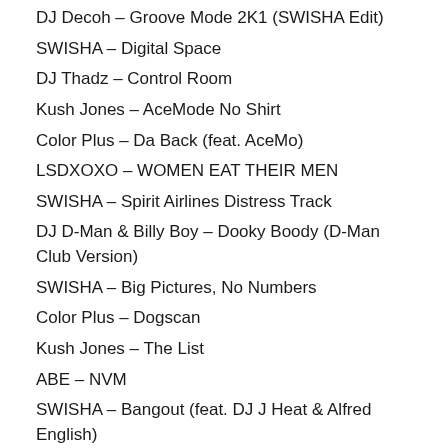DJ Decoh – Groove Mode 2K1 (SWISHA Edit)
SWISHA – Digital Space
DJ Thadz – Control Room
Kush Jones – AceMode No Shirt
Color Plus – Da Back (feat. AceMo)
LSDXOXO – WOMEN EAT THEIR MEN
SWISHA – Spirit Airlines Distress Track
DJ D-Man & Billy Boy – Dooky Boody (D-Man Club Version)
SWISHA – Big Pictures, No Numbers
Color Plus – Dogscan
Kush Jones – The List
ABE – NVM
SWISHA – Bangout (feat. DJ J Heat & Alfred English)
K-Shiz – Beat Dat Up
SWISHA – Can't Move With Me (feat. Kush Jones) (Blanco Remix)